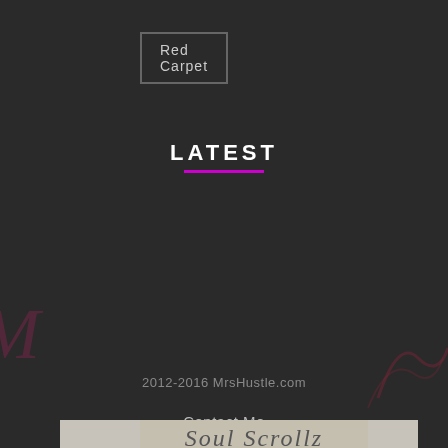Red Carpet
LATEST
[Figure (screenshot): Music blog carousel slide showing a person's profile portrait with text overlay reading 'MUSIC PREMIERE: SOUL SCROLLZ – PRECLECTIQUETTE [EP]' with author MrsHustle and date February 10, 2018. Navigation arrows on left and right sides.]
2012-2016 MrsHustle.com
Contact Me